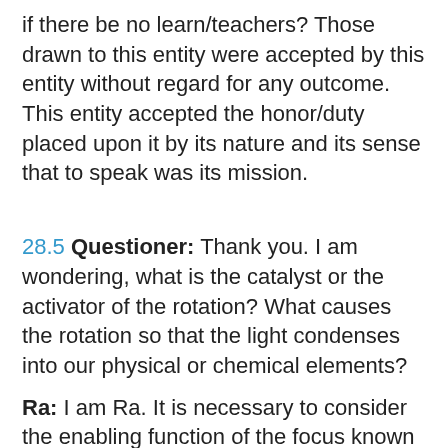if there be no learn/teachers? Those drawn to this entity were accepted by this entity without regard for any outcome. This entity accepted the honor/duty placed upon it by its nature and its sense that to speak was its mission.
28.5 Questioner: Thank you. I am wondering, what is the catalyst or the activator of the rotation? What causes the rotation so that the light condenses into our physical or chemical elements?
Ra: I am Ra. It is necessary to consider the enabling function of the focus known as Love. This energy is of an ordering nature. It orders in a cumulative way from greater to lesser so that when Its universe, as you may call it, is complete, the manner of development of each detail is inherent in the living light and thus will develop in such and such a way; your own universe having been well-studied in an empirical fashion by those you call